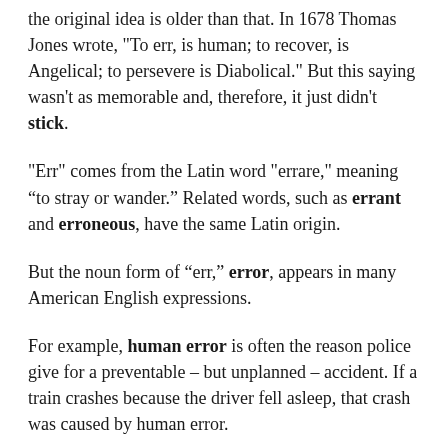the original idea is older than that. In 1678 Thomas Jones wrote, "To err, is human; to recover, is Angelical; to persevere is Diabolical." But this saying wasn't as memorable and, therefore, it just didn't stick.
"Err" comes from the Latin word "errare," meaning “to stray or wander.” Related words, such as errant and erroneous, have the same Latin origin.
But the noun form of “err,” error, appears in many American English expressions.
For example, human error is often the reason police give for a preventable – but unplanned – accident. If a train crashes because the driver fell asleep, that crash was caused by human error.
But some errors or mistakes are nobody’s fault directly,